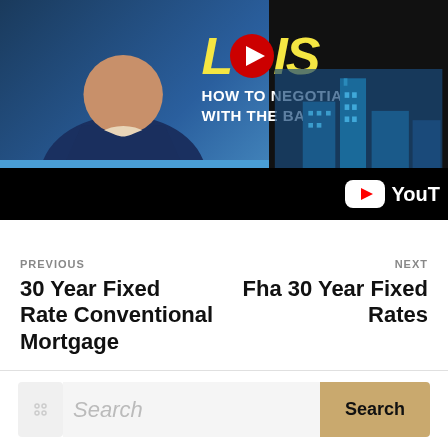[Figure (screenshot): YouTube video thumbnail showing a man in a dark suit on a blue background with text 'HOW TO NEGOTIATE WITH THE BANK', city skyline graphic on the right, YouTube logo in bottom-right corner]
PREVIOUS
30 Year Fixed Rate Conventional Mortgage
NEXT
Fha 30 Year Fixed Rates
Search